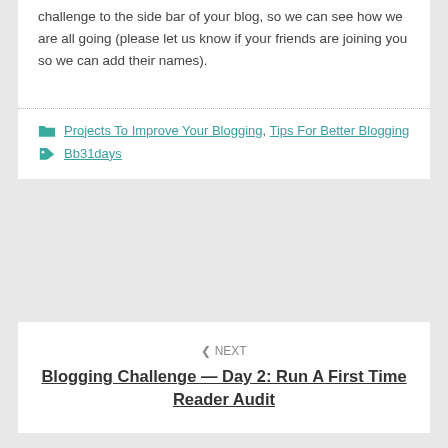challenge to the side bar of your blog, so we can see how we are all going (please let us know if your friends are joining you so we can add their names).
Projects To Improve Your Blogging, Tips For Better Blogging
Bb31days
< NEXT Blogging Challenge — Day 2: Run A First Time Reader Audit